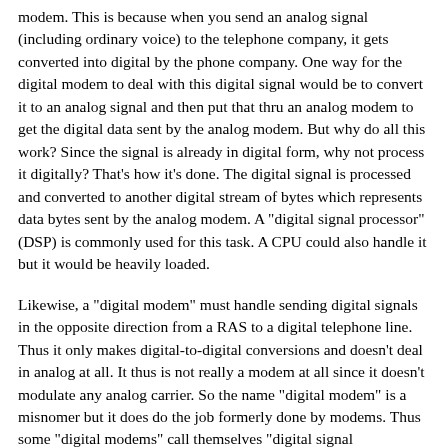modem. This is because when you send an analog signal (including ordinary voice) to the telephone company, it gets converted into digital by the phone company. One way for the digital modem to deal with this digital signal would be to convert it to an analog signal and then put that thru an analog modem to get the digital data sent by the analog modem. But why do all this work? Since the signal is already in digital form, why not process it digitally? That's how it's done. The digital signal is processed and converted to another digital stream of bytes which represents data bytes sent by the analog modem. A "digital signal processor" (DSP) is commonly used for this task. A CPU could also handle it but it would be heavily loaded.
Likewise, a "digital modem" must handle sending digital signals in the opposite direction from a RAS to a digital telephone line. Thus it only makes digital-to-digital conversions and doesn't deal in analog at all. It thus is not really a modem at all since it doesn't modulate any analog carrier. So the name "digital modem" is a misnomer but it does do the job formerly done by modems. Thus some "digital modems" call themselves "digital signal processors", or "remote access servers", etc. and may not even mention the word "modem".
Such a RAS system may be a stand-alone proprietary server, a chassis containing digital modems that connects to a PC via a special interface card, or just a card itself. Digi calls one such card